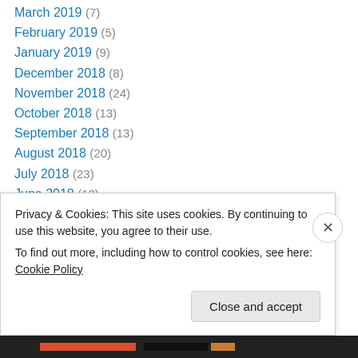March 2019 (7)
February 2019 (5)
January 2019 (9)
December 2018 (8)
November 2018 (24)
October 2018 (13)
September 2018 (13)
August 2018 (20)
July 2018 (23)
June 2018 (13)
May 2018 (21)
April 2018 (21)
March 2018 (13)
February 2018 (17)
Privacy & Cookies: This site uses cookies. By continuing to use this website, you agree to their use. To find out more, including how to control cookies, see here: Cookie Policy
Close and accept